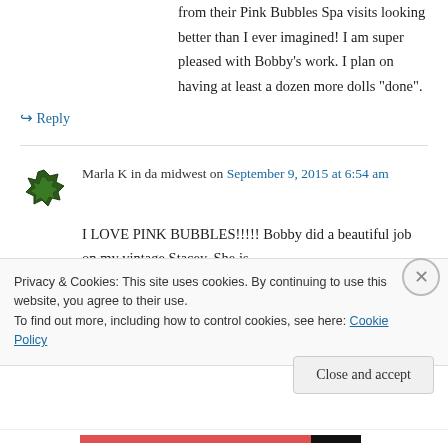from their Pink Bubbles Spa visits looking better than I ever imagined! I am super pleased with Bobby's work. I plan on having at least a dozen more dolls “done”.
↪ Reply
Marla K in da midwest on September 9, 2015 at 6:54 am
I LOVE PINK BUBBLES!!!!! Bobby did a beautiful job on my vintage Stacey. She is
Privacy & Cookies: This site uses cookies. By continuing to use this website, you agree to their use.
To find out more, including how to control cookies, see here: Cookie Policy
Close and accept